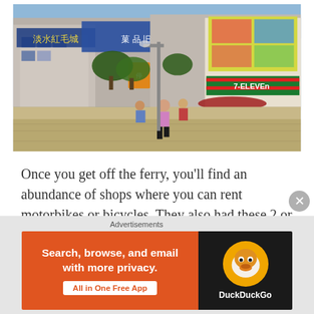[Figure (photo): Street scene in Cijin Island, Taiwan showing a busy area near the ferry terminal with shops, motorbikes, bicycles, pedestrians walking on a wide paved area, colorful storefronts with Chinese characters, and a 7-Eleven convenience store visible on the right side.]
Once you get off the ferry, you'll find an abundance of shops where you can rent motorbikes or bicycles. They also had these 2 or 4 people pedal cars. If you want to really explore Cijin Island, I suggest renting some type of bike. The island itself is quite small, but walking could be
Advertisements
[Figure (advertisement): DuckDuckGo advertisement banner with orange left section saying 'Search, browse, and email with more privacy. All in One Free App' and dark right section with DuckDuckGo duck logo and brand name.]